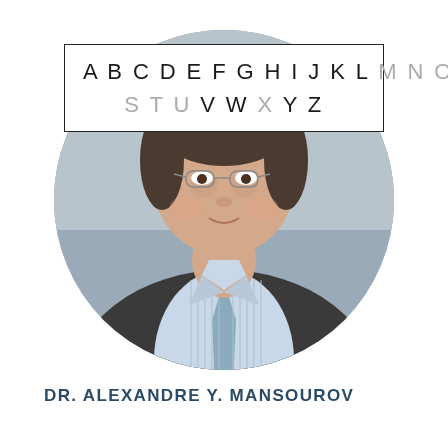[Figure (photo): Circular cropped headshot portrait of a middle-aged man wearing glasses, a suit jacket, light blue striped shirt and light blue tie, photographed outdoors with a blurred background.]
A B C D E F G H I J K L M N O P Q R
S T U V W X Y Z
DR. ALEXANDRE Y. MANSOUROV